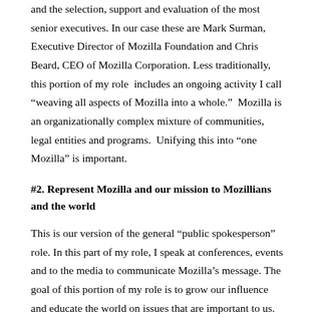and the selection, support and evaluation of the most senior executives. In our case these are Mark Surman, Executive Director of Mozilla Foundation and Chris Beard, CEO of Mozilla Corporation. Less traditionally, this portion of my role  includes an ongoing activity I call “weaving all aspects of Mozilla into a whole.”  Mozilla is an organizationally complex mixture of communities, legal entities and programs.  Unifying this into “one Mozilla” is important.
#2. Represent Mozilla and our mission to Mozillians and the world
This is our version of the general “public spokesperson” role. In this part of my role, I speak at conferences, events and to the media to communicate Mozilla’s message. The goal of this portion of my role is to grow our influence and educate the world on issues that are important to us. This role is particularly important as we transform the company and the